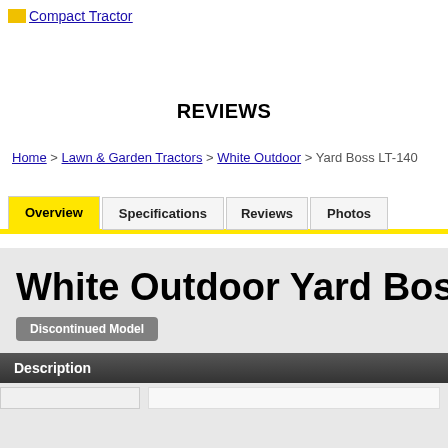Compact Tractor
REVIEWS
Home > Lawn & Garden Tractors > White Outdoor > Yard Boss LT-140
[Figure (screenshot): Navigation tabs: Overview (active/yellow), Specifications, Reviews, Photos]
White Outdoor Yard Boss
Discontinued Model
Description